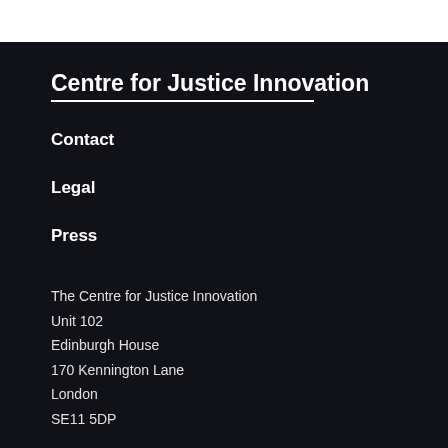Centre for Justice Innovation
Contact
Legal
Press
The Centre for Justice Innovation
Unit 102
Edinburgh House
170 Kennington Lane
London
SE11 5DP